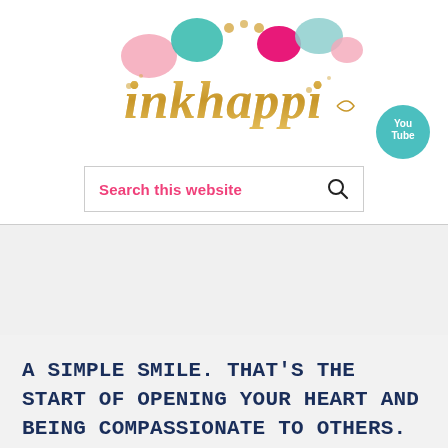[Figure (logo): inkhappi logo with colorful balloons and gold script text]
[Figure (logo): YouTube button icon (teal circle with You Tube text)]
Search this website
A SIMPLE SMILE. THAT'S THE START OF OPENING YOUR HEART AND BEING COMPASSIONATE TO OTHERS. -DALAI